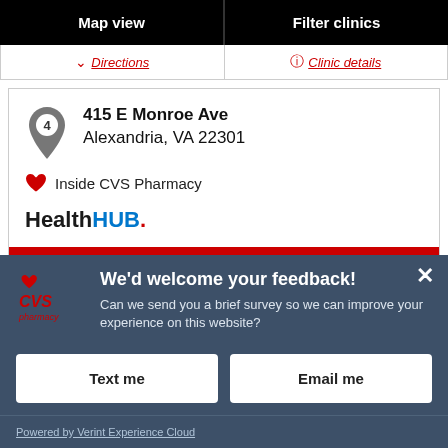Map view | Filter clinics
Directions | Clinic details
4  415 E Monroe Ave
Alexandria, VA 22301
❤ Inside CVS Pharmacy
HealthHUB.
Schedule a visit
We'd welcome your feedback!
Can we send you a brief survey so we can improve your experience on this website?
Text me
Email me
Powered by Verint Experience Cloud